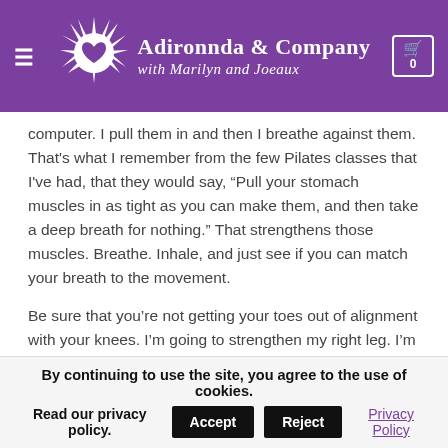Adironnda & Company with Marilyn and Joeaux
computer. I pull them in and then I breathe against them. That's what I remember from the few Pilates classes that I've had, that they would say, “Pull your stomach muscles in as tight as you can make them, and then take a deep breath for nothing.” That strengthens those muscles. Breathe. Inhale, and just see if you can match your breath to the movement.
Be sure that you’re not getting your toes out of alignment with your knees. I’m going to strengthen my right leg. I’m gonna put my right leg at a 45 degree angle from my body. I’m gonna take a hold of my chair to give me balance. I’m gonna
By continuing to use the site, you agree to the use of cookies.
Read our privacy policy. Accept  Reject  Privacy Policy